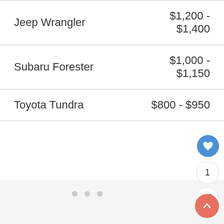| Jeep Wrangler | $1,200 - $1,400 |
| Subaru Forester | $1,000 - $1,150 |
| Toyota Tundra | $800 - $950 |